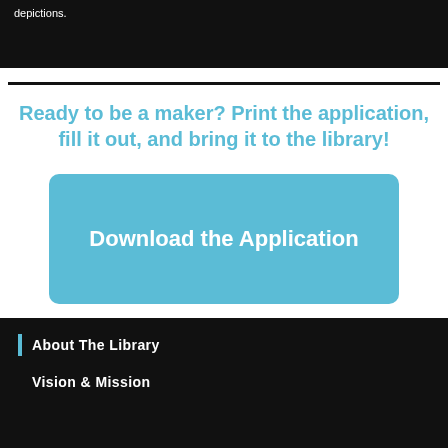depictions.
Ready to be a maker? Print the application, fill it out, and bring it to the library!
Download the Application
About The Library
Vision & Mission